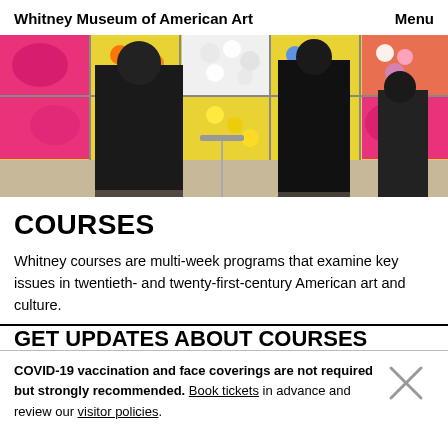Whitney Museum of American Art   Menu
[Figure (photo): Museum visitors viewing Andy Warhol flower and cow paintings on a gallery wall. Three people in dark clothing seen from behind looking at the colorful artworks.]
COURSES
Whitney courses are multi-week programs that examine key issues in twentieth- and twenty-first-century American art and culture.
GET UPDATES ABOUT COURSES
COVID-19 vaccination and face coverings are not required but strongly recommended. Book tickets in advance and review our visitor policies.